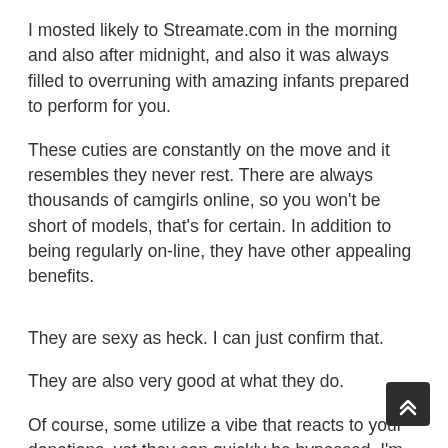I mosted likely to Streamate.com in the morning and also after midnight, and also it was always filled to overruning with amazing infants prepared to perform for you.
These cuties are constantly on the move and it resembles they never rest. There are always thousands of camgirls online, so you won't be short of models, that's for certain. In addition to being regularly on-line, they have other appealing benefits.
They are sexy as heck. I can just confirm that.
They are also very good at what they do.
Of course, some utilize a vibe that reacts to your donations, yet they can quickly be bypassed. I'm discussing real pros from Streamate.com.